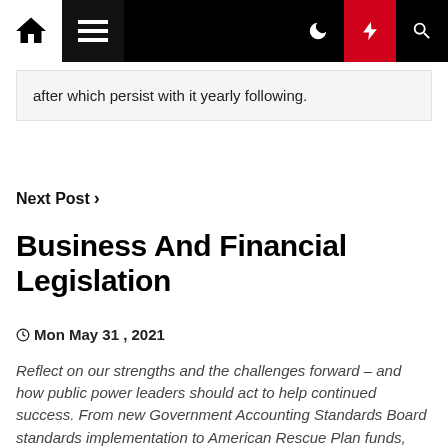Navigation bar with home, menu, dark mode, lightning, and search icons
after which persist with it yearly following.
Next Post >
Business And Financial Legislation
Mon May 31, 2021
Reflect on our strengths and the challenges forward – and how public power leaders should act to help continued success. From new Government Accounting Standards Board standards implementation to American Rescue Plan funds, public utility accountants and monetary planners face adjustments that could possibly be tough to follow. Our analysis [...]